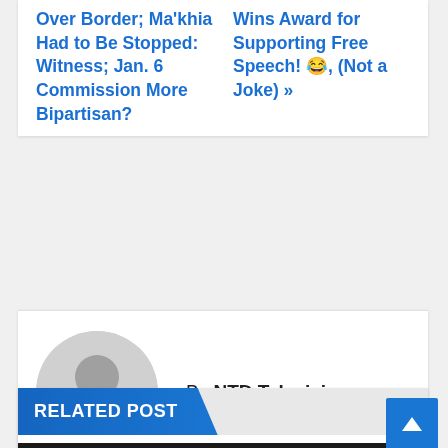Over Border; Ma'khia Had to Be Stopped: Witness; Jan. 6 Commission More Bipartisan?
Wins Award for Supporting Free Speech! 😂, (Not a Joke) »
By NTD Television
[Figure (illustration): Gray circular avatar/placeholder user icon]
RELATED POST
[Figure (screenshot): Dark strip with YOUTUBE FEEDS label in blue tag]